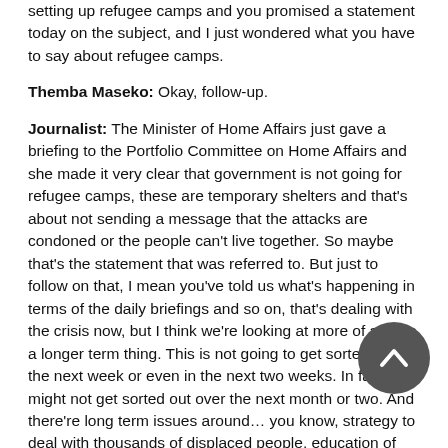setting up refugee camps and you promised a statement today on the subject, and I just wondered what you have to say about refugee camps.
Themba Maseko: Okay, follow-up.
Journalist: The Minister of Home Affairs just gave a briefing to the Portfolio Committee on Home Affairs and she made it very clear that government is not going for refugee camps, these are temporary shelters and that's about not sending a message that the attacks are condoned or the people can't live together. So maybe that's the statement that was referred to. But just to follow on that, I mean you've told us what's happening in terms of the daily briefings and so on, that's dealing with the crisis now, but I think we're looking at more of a… it's a longer term thing. This is not going to get sorted out in the next week or even in the next two weeks. In fact it might not get sorted out over the next month or two. And there're long term issues around… you know, strategy to deal with thousands of displaced people, education of children, a whole range of issues. And I think what we're asking for is a sense about the big plan, thanks.
Themba Maseko: Okay, at this stage the estimate of displaced people is between 35 and 40 000. What is complicating the factor is